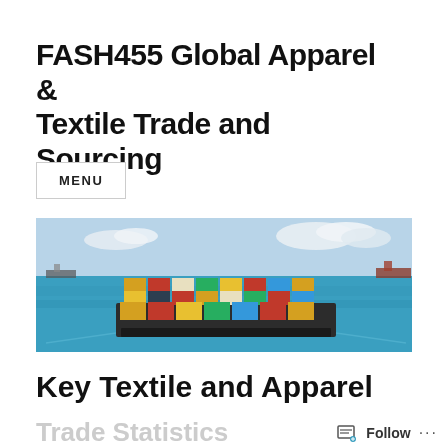FASH455 Global Apparel & Textile Trade and Sourcing
MENU
[Figure (photo): Aerial view of a large cargo container ship loaded with colorful shipping containers sailing on blue ocean water, with other vessels visible in the background.]
Key Textile and Apparel Trade Statistics